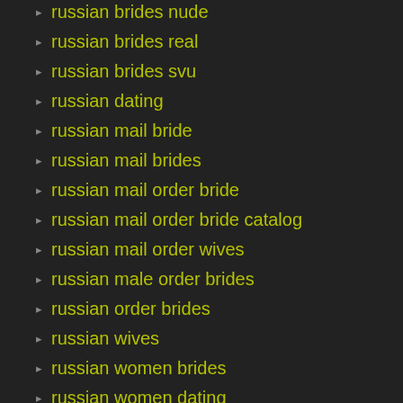russian brides nude
russian brides real
russian brides svu
russian dating
russian mail bride
russian mail brides
russian mail order bride
russian mail order bride catalog
russian mail order wives
russian male order brides
russian order brides
russian wives
russian women brides
russian women dating
russian women for marriage